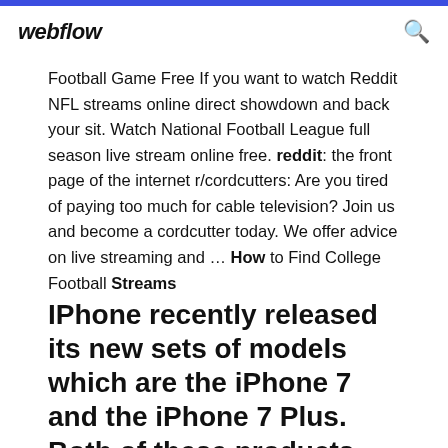webflow
Football Game Free If you want to watch Reddit NFL streams online direct showdown and back your sit. Watch National Football League full season live stream online free. reddit: the front page of the internet r/cordcutters: Are you tired of paying too much for cable television? Join us and become a cordcutter today. We offer advice on live streaming and … How to Find College Football Streams
IPhone recently released its new sets of models which are the iPhone 7 and the iPhone 7 Plus. Both of these products have